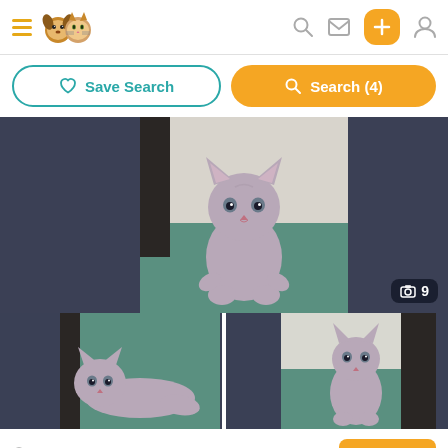Pet listing app header with hamburger menu, logo, search, message, add, and profile icons
Save Search | Search (4)
[Figure (photo): Gray British Shorthair kitten standing on teal/green carpet, looking at camera. Photo counter badge showing 9 photos. Three-panel photo grid with main center image and two smaller thumbnail images below.]
4 hours
BOOST
BSH kittens all blue